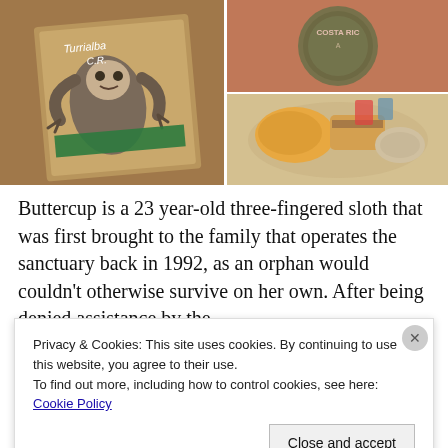[Figure (photo): Photo collage showing three images: left image is a drawing/artwork of a three-fingered sloth on a brown bag labeled 'Turrialba C.R.', top right is a Costa Rica circular logo/sign on a terracotta wall, bottom right shows a food spread with chips/tortillas, sandwich, dips on a table.]
Buttercup is a 23 year-old three-fingered sloth that was first brought to the family that operates the sanctuary back in 1992, as an orphan would couldn't otherwise survive on her own. After being denied assistance by the
Privacy & Cookies: This site uses cookies. By continuing to use this website, you agree to their use.
To find out more, including how to control cookies, see here: Cookie Policy
Close and accept